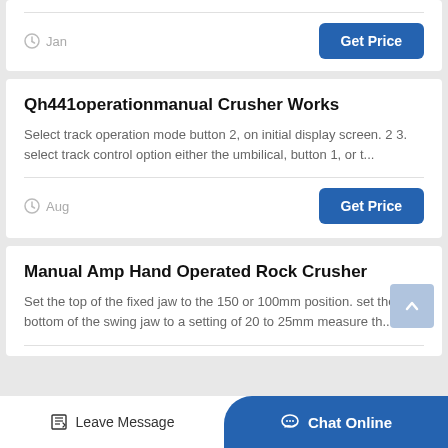Jan
Qh441operationmanual Crusher Works
Select track operation mode button 2, on initial display screen. 2 3. select track control option either the umbilical, button 1, or t...
Aug
Manual Amp Hand Operated Rock Crusher
Set the top of the fixed jaw to the 150 or 100mm position. set the bottom of the swing jaw to a setting of 20 to 25mm measure th...
Leave Message
Chat Online